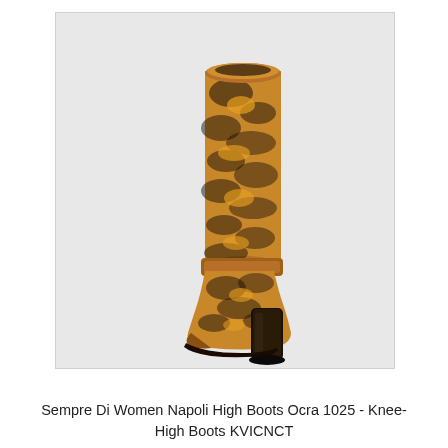[Figure (photo): A knee-high women's boot with snake print pattern in ochre/brown/black tones, featuring a black block heel, displayed on a light grey background.]
Sempre Di Women Napoli High Boots Ocra 1025 - Knee-High Boots KVICNCT